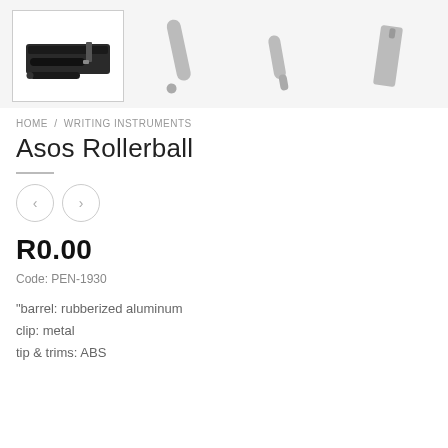[Figure (photo): Product gallery showing the Asos Rollerball pen set. Main thumbnail on the left (selected, with border) shows a black pen set with case. Three additional grayscale product images to the right show: the pen alone, the pen tip/cap, and the pen clip/bookmark.]
HOME / WRITING INSTRUMENTS
Asos Rollerball
R0.00
Code: PEN-1930
"barrel: rubberized aluminum
clip: metal
tip & trims: ABS